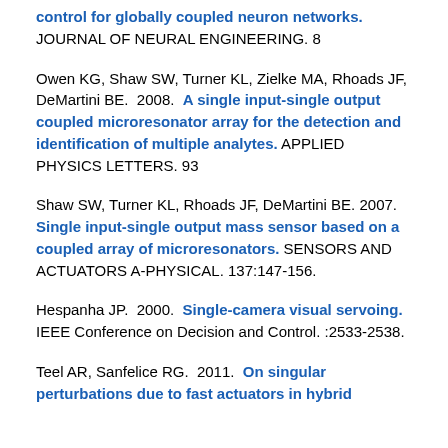control for globally coupled neuron networks. JOURNAL OF NEURAL ENGINEERING. 8
Owen KG, Shaw SW, Turner KL, Zielke MA, Rhoads JF, DeMartini BE. 2008. A single input-single output coupled microresonator array for the detection and identification of multiple analytes. APPLIED PHYSICS LETTERS. 93
Shaw SW, Turner KL, Rhoads JF, DeMartini BE. 2007. Single input-single output mass sensor based on a coupled array of microresonators. SENSORS AND ACTUATORS A-PHYSICAL. 137:147-156.
Hespanha JP. 2000. Single-camera visual servoing. IEEE Conference on Decision and Control. :2533-2538.
Teel AR, Sanfelice RG. 2011. On singular perturbations due to fast actuators in hybrid